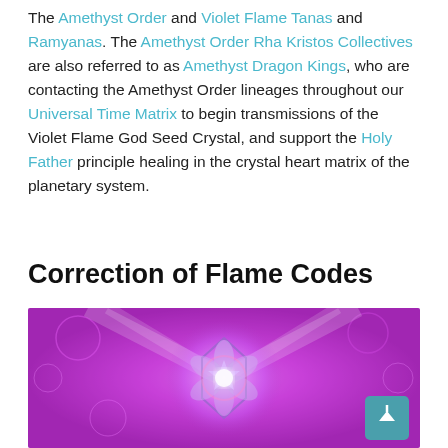The Amethyst Order and Violet Flame Tanas and Ramyanas. The Amethyst Order Rha Kristos Collectives are also referred to as Amethyst Dragon Kings, who are contacting the Amethyst Order lineages throughout our Universal Time Matrix to begin transmissions of the Violet Flame God Seed Crystal, and support the Holy Father principle healing in the crystal heart matrix of the planetary system.
Correction of Flame Codes
[Figure (illustration): Purple and violet mandala/kaleidoscope spiritual artwork with a star pattern in the center, glowing white light beams radiating outward, set against a vivid magenta-purple fractal background.]